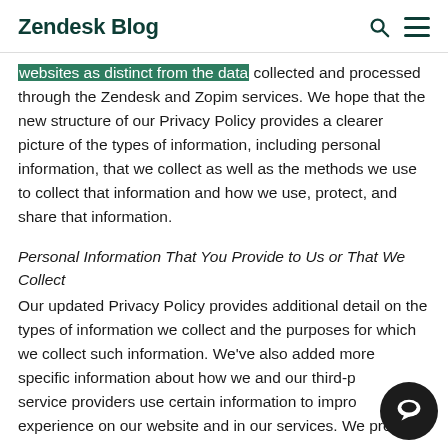Zendesk Blog
websites as distinct from the data collected and processed through the Zendesk and Zopim services. We hope that the new structure of our Privacy Policy provides a clearer picture of the types of information, including personal information, that we collect as well as the methods we use to collect that information and how we use, protect, and share that information.
Personal Information That You Provide to Us or That We Collect
Our updated Privacy Policy provides additional detail on the types of information we collect and the purposes for which we collect such information. We've also added more specific information about how we and our third-party service providers use certain information to improve experience on our website and in our services. We provide